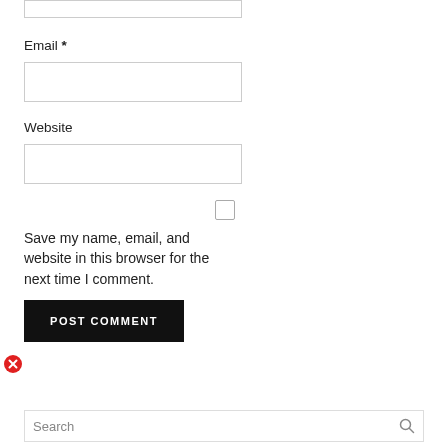Email *
[Figure (screenshot): Empty text input field for Email]
Website
[Figure (screenshot): Empty text input field for Website]
[Figure (screenshot): Unchecked checkbox]
Save my name, email, and website in this browser for the next time I comment.
POST COMMENT
[Figure (illustration): Red circle with X error icon]
[Figure (screenshot): Search input bar with search icon]